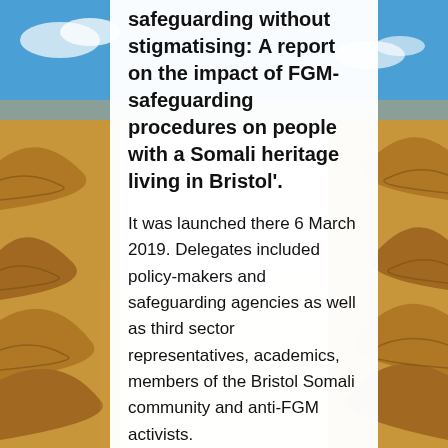[Figure (photo): Background photo of desert sand dunes with blue sky and clouds, visible on the left and right sides of the page behind a white content card.]
safeguarding without stigmatising: A report on the impact of FGM-safeguarding procedures on people with a Somali heritage living in Bristol'.
It was launched there 6 March 2019. Delegates included policy-makers and safeguarding agencies as well as third sector representatives, academics, members of the Bristol Somali community and anti-FGM activists.
Councillor Asher Craig, Bristol's Deputy Mayor welcomed delegates to the launch saying the research